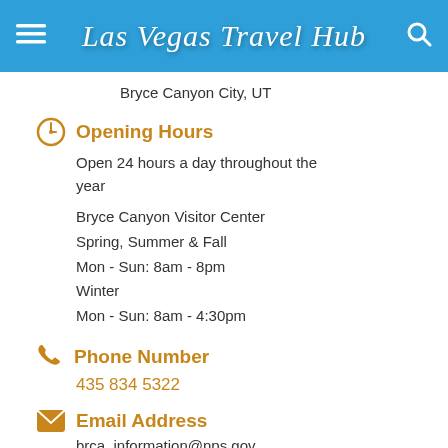Las Vegas Travel Hub
Bryce Canyon City, UT
Opening Hours
Open 24 hours a day throughout the year
Bryce Canyon Visitor Center
Spring, Summer & Fall
Mon - Sun: 8am - 8pm
Winter
Mon - Sun: 8am - 4:30pm
Phone Number
435 834 5322
Email Address
brca_information@nps.gov